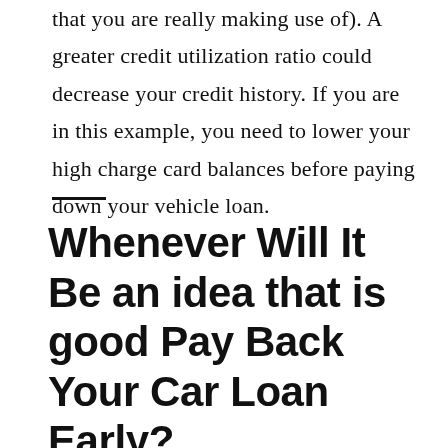that you are really making use of). A greater credit utilization ratio could decrease your credit history. If you are in this example, you need to lower your high charge card balances before paying down your vehicle loan.
Whenever Will It Be an idea that is good Pay Back Your Car Loan Early?